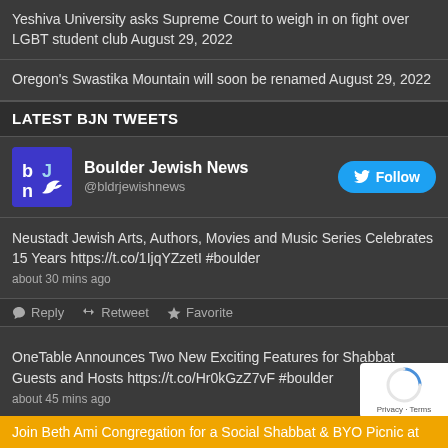Yeshiva University asks Supreme Court to weigh in on fight over LGBT student club August 29, 2022
Oregon's Swastika Mountain will soon be renamed August 29, 2022
LATEST BJN TWEETS
[Figure (other): Boulder Jewish News Twitter profile with blue logo avatar, name 'Boulder Jewish News', handle '@bldrjewishnews', and a Follow button]
Neustadt Jewish Arts, Authors, Movies and Music Series Celebrates 15 Years https://t.co/1IjqYZzetI #boulder
about 30 mins ago
Reply  Retweet  Favorite
OneTable Announces Two New Exciting Features for Shabbat Guests and Hosts https://t.co/Hr0kGzZ7vF #boulder
about 45 mins ago
Reply  Retweet  Favorite
Join Beth Ami Congregation for a Social Shabbat & BYO Picnic at